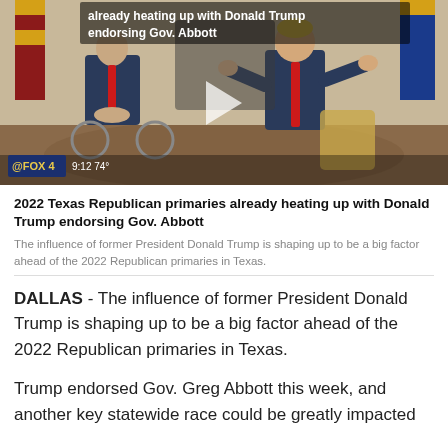[Figure (screenshot): Fox 4 news video thumbnail showing two men in suits seated, with text overlay 'already heating up with Donald Trump endorsing Gov. Abbott', Fox 4 logo and time 9:12 74° visible]
2022 Texas Republican primaries already heating up with Donald Trump endorsing Gov. Abbott
The influence of former President Donald Trump is shaping up to be a big factor ahead of the 2022 Republican primaries in Texas.
DALLAS - The influence of former President Donald Trump is shaping up to be a big factor ahead of the 2022 Republican primaries in Texas.
Trump endorsed Gov. Greg Abbott this week, and another key statewide race could be greatly impacted